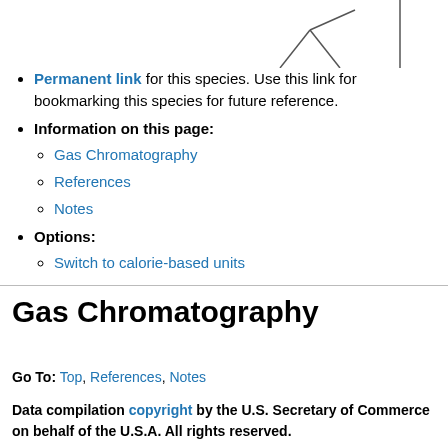[Figure (illustration): Partial molecular structure diagram (skeletal formula) showing a branched organic molecule, cropped at top of page.]
Permanent link for this species. Use this link for bookmarking this species for future reference.
Information on this page: Gas Chromatography, References, Notes
Options: Switch to calorie-based units
Gas Chromatography
Go To: Top, References, Notes
Data compilation copyright by the U.S. Secretary of Commerce on behalf of the U.S.A. All rights reserved.